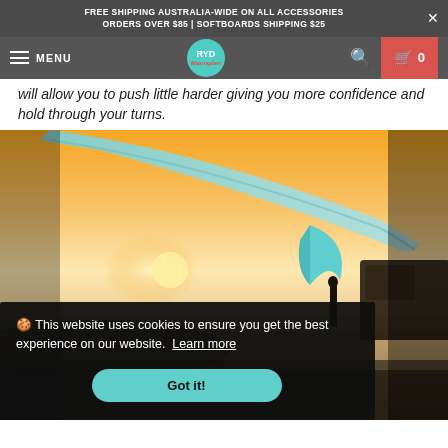FREE SHIPPING AUSTRALIA-WIDE ON ALL ACCESSORIES ORDERS OVER $85 | SOFTBOARDS SHIPPING $25
MENU | RYD Waxingderi | 🔍 | 🛒 0
will allow you to push little harder giving you more confidence and hold through your turns.
[Figure (photo): Sunset beach scene photographed through/under a surfboard with fins visible, a silhouetted person standing at the water's edge, and a vehicle in the background. Warm orange and golden tones.]
🍪 This website uses cookies to ensure you get the best experience on our website. Learn more
Got it!